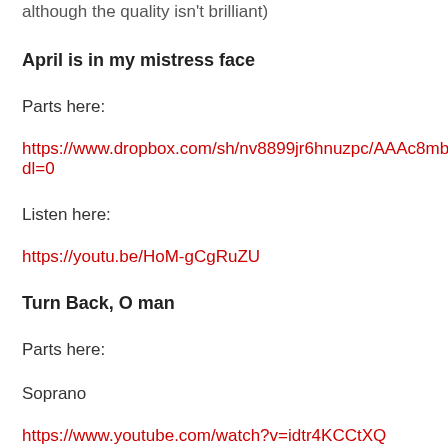although the quality isn't brilliant)
April is in my mistress face
Parts here:
https://www.dropbox.com/sh/nv8899jr6hnuzpc/AAAc8mblJdl=0
Listen here:
https://youtu.be/HoM-gCgRuZU
Turn Back, O man
Parts here:
Soprano
https://www.youtube.com/watch?v=idtr4KCCtXQ
Alto